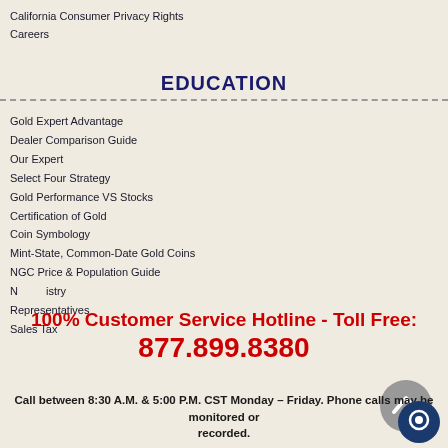California Consumer Privacy Rights
Careers
EDUCATION
Gold Expert Advantage
Dealer Comparison Guide
Our Expert
Select Four Strategy
Gold Performance VS Stocks
Certification of Gold
Coin Symbology
Mint-State, Common-Date Gold Coins
NGC Price & Population Guide
N...industry
Representatives
Sales Tax
100% Customer Service Hotline - Toll Free: 877.899.8380
Call between 8:30 A.M. & 5:00 P.M. CST Monday - Friday. Phone calls may be monitored or recorded.